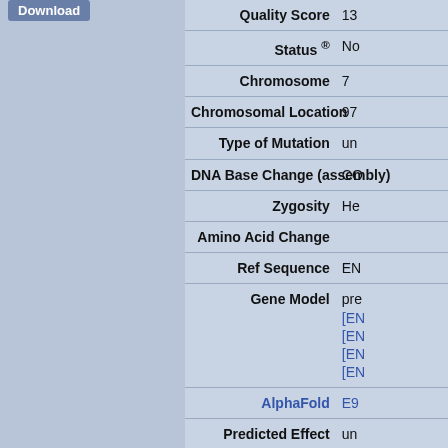| Field | Value |
| --- | --- |
| Quality Score | 13 |
| Status ® | No |
| Chromosome | 7 |
| Chromosomal Location | 97 |
| Type of Mutation | un |
| DNA Base Change (assembly) | CO |
| Zygosity | He |
| Amino Acid Change |  |
| Ref Sequence | EN |
| Gene Model | pre
[EN
[EN
[EN
[EN |
| AlphaFold | E9 |
| Predicted Effect | un
Tra |